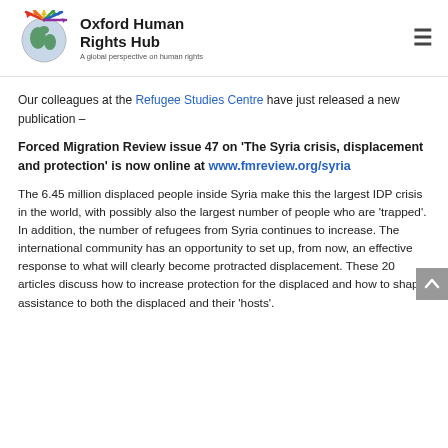[Figure (logo): Oxford Human Rights Hub logo — globe with coloured arrows and text 'Oxford Human Rights Hub, A global perspective on human rights']
Our colleagues at the Refugee Studies Centre have just released a new publication –
Forced Migration Review issue 47 on 'The Syria crisis, displacement and protection' is now online at www.fmreview.org/syria
The 6.45 million displaced people inside Syria make this the largest IDP crisis in the world, with possibly also the largest number of people who are 'trapped'. In addition, the number of refugees from Syria continues to increase. The international community has an opportunity to set up, from now, an effective response to what will clearly become protracted displacement. These 20 articles discuss how to increase protection for the displaced and how to shape assistance to both the displaced and their 'hosts'.